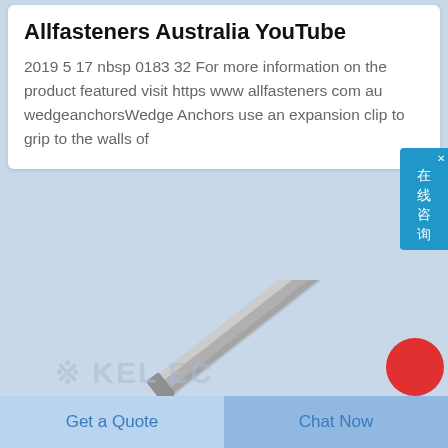Allfasteners Australia YouTube
2019 5 17 nbsp 0183 32 For more information on the product featured visit https www allfasteners com au wedgeanchorsWedge Anchors use an expansion clip to grip to the walls of
[Figure (screenshot): Chat widget button on right side with Chinese text 在线咨询 (online consultation) and close X button]
[Figure (photo): A metal wedge anchor bolt shown diagonally against a light blue background, with a partially visible watermark logo and red circle]
Get a Quote
Chat Now